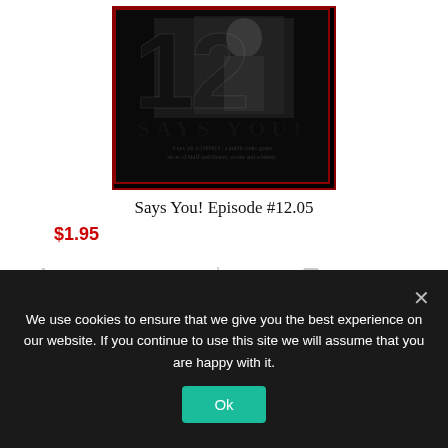[Figure (photo): Cover image of 'Says You!' Episode #12 — large bold '12' text overlaid on a photo of a man at a podium, with 'SAYS YOU!' text below and a small subtitle line.]
Says You! Episode #12.05
$1.95
Add to cart
Show Details
We use cookies to ensure that we give you the best experience on our website. If you continue to use this site we will assume that you are happy with it.
Ok